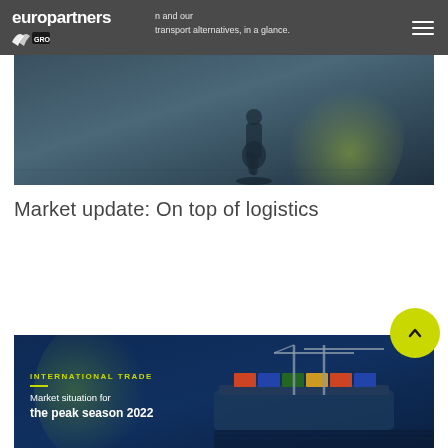europartners GROUP
[Figure (photo): Cropped hero photo showing a person walking, with a yellow-green circular overlay shape. Dark overlay with transport/logistics context. Text overlay reads 'n and our transport alternatives, in a glance.']
Market update: On top of logistics
[Figure (photo): Bottom card image showing shipping containers and cranes at a port with a dark navy blue background. Yellow-green circle overlay on left. Contains text: INTERNATIONAL TRADE (yellow, uppercase), a yellow divider line, 'Market situation for' in white light text, and 'the peak season 2022' in white bold text.]